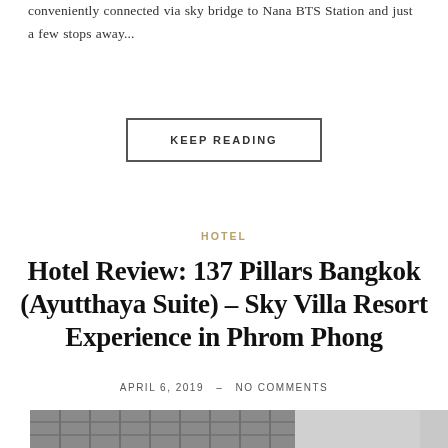conveniently connected via sky bridge to Nana BTS Station and just a few stops away...
KEEP READING
HOTEL
Hotel Review: 137 Pillars Bangkok (Ayutthaya Suite) – Sky Villa Resort Experience in Phrom Phong
APRIL 6, 2019  –  NO COMMENTS
[Figure (photo): Exterior photo of 137 Pillars Bangkok hotel building showing modern architecture with grid-pattern facade]